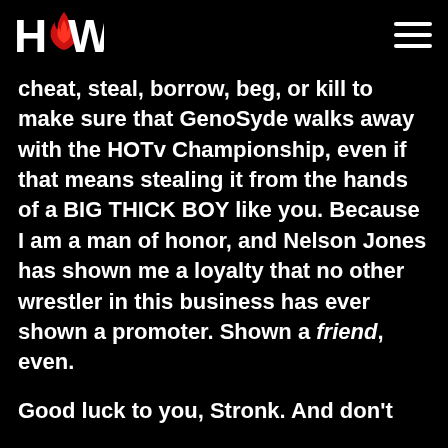HCW logo and hamburger menu
cheat, steal, borrow, beg, or kill to make sure that GenoSyde walks away with the HOTv Championship, even if that means stealing it from the hands of a BIG THICK BOY like you. Because I am a man of honor, and Nelson Jones has shown me a loyalty that no other wrestler in this business has ever shown a promoter. Shown a friend, even.
Good luck to you, Stronk. And don't